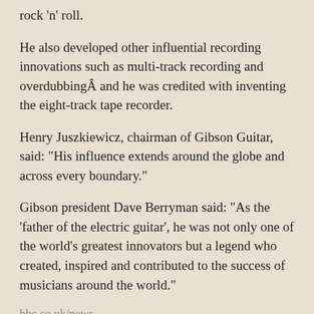rock ‘n’ roll.
He also developed other influential recording innovations such as multi-track recording and overdubbingÂ and he was credited with inventing the eight-track tape recorder.
Henry Juszkiewicz, chairman of Gibson Guitar, said: “His influence extends around the globe and across every boundary.”
Gibson president Dave Berryman said: “As the ‘father of the electric guitar’, he was not only one of the world’s greatest innovators but a legend who created, inspired and contributed to the success of musicians around the world.”
bbc.co.uk/news